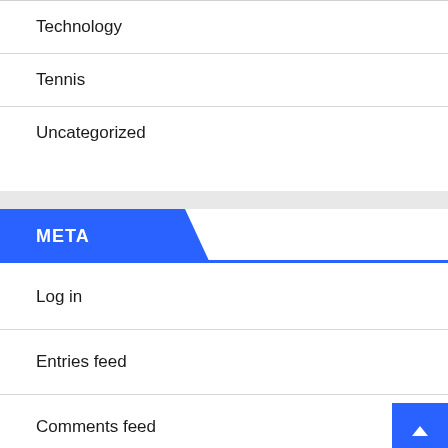Technology
Tennis
Uncategorized
META
Log in
Entries feed
Comments feed